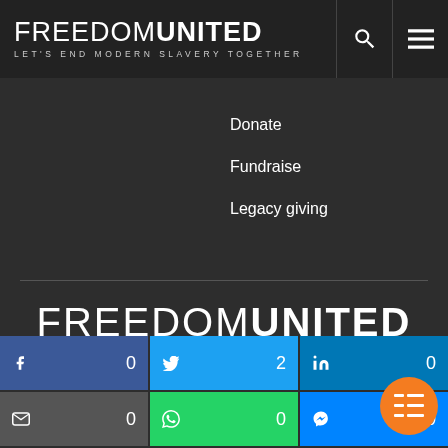FREEDOM UNITED — LET'S END MODERN SLAVERY TOGETHER
Donate
Fundraise
Legacy giving
[Figure (logo): Freedom United logo with tagline LET'S END MODERN SLAVERY TOGETHER, centered in dark background]
[Figure (infographic): Four social media circular icon buttons: Facebook, Twitter, Instagram, YouTube]
[Figure (infographic): Share bar with 6 social sharing buttons: Facebook (0), Twitter (2), LinkedIn (0), Email (0), WhatsApp (0), Messenger (0)]